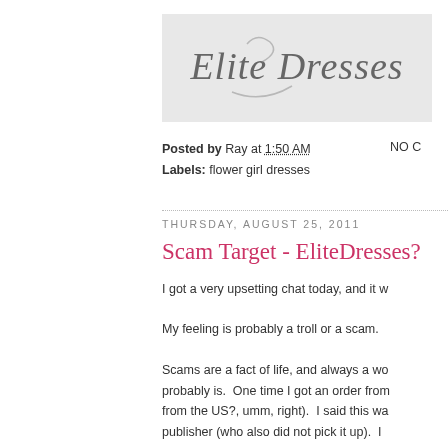[Figure (logo): Elite Dresses logo on light gray background, cursive/script text]
Posted by Ray at 1:50 AM   NO C
Labels: flower girl dresses
THURSDAY, AUGUST 25, 2011
Scam Target - EliteDresses?
I got a very upsetting chat today, and it w
My feeling is probably a troll or a scam.
Scams are a fact of life, and always a wo probably is.  One time I got an order from from the US?, umm, right).  I said this wa publisher (who also did not pick it up).  I